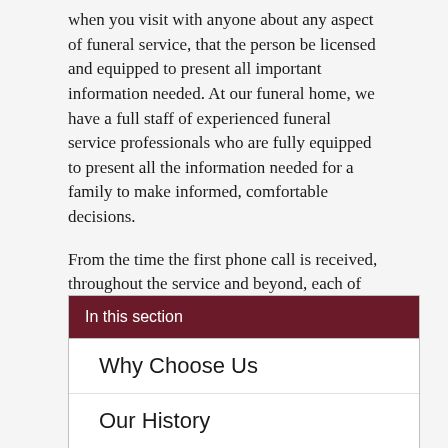when you visit with anyone about any aspect of funeral service, that the person be licensed and equipped to present all important information needed. At our funeral home, we have a full staff of experienced funeral service professionals who are fully equipped to present all the information needed for a family to make informed, comfortable decisions.
From the time the first phone call is received, throughout the service and beyond, each of our staff contributes in an important way. We are very proud of our staff, and hope that you will take the time to learn more about them.
In this section
Why Choose Us
Our History
Our Staff